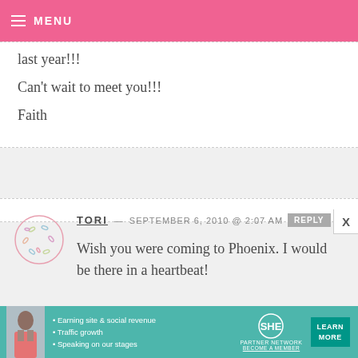MENU
last year!!!
Can't wait to meet you!!!
Faith
TORI — SEPTEMBER 6, 2010 @ 2:07 AM REPLY
Wish you were coming to Phoenix. I would be there in a heartbeat!
KRISTEN
[Figure (screenshot): SHE Partner Network advertisement banner with photo of woman, bullet points about earning site & social revenue, traffic growth, speaking on stages, SHE logo, and LEARN MORE button]